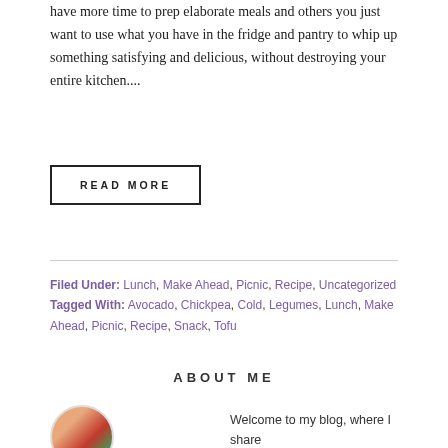have more time to prep elaborate meals and others you just want to use what you have in the fridge and pantry to whip up something satisfying and delicious, without destroying your entire kitchen....
READ MORE
Filed Under: Lunch, Make Ahead, Picnic, Recipe, Uncategorized
Tagged With: Avocado, Chickpea, Cold, Legumes, Lunch, Make Ahead, Picnic, Recipe, Snack, Tofu
ABOUT ME
Welcome to my blog, where I share